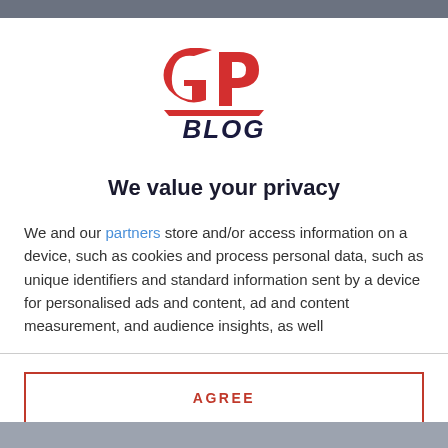[Figure (logo): GPBlog logo — red stylized GP letters above dark navy BLOG text]
We value your privacy
We and our partners store and/or access information on a device, such as cookies and process personal data, such as unique identifiers and standard information sent by a device for personalised ads and content, ad and content measurement, and audience insights, as well
AGREE
MORE OPTIONS